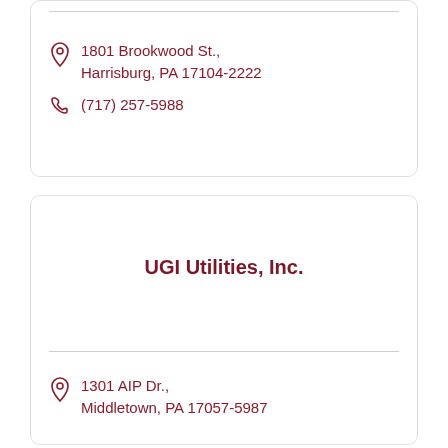1801 Brookwood St., Harrisburg, PA 17104-2222
(717) 257-5988
UGI Utilities, Inc.
1301 AIP Dr., Middletown, PA 17057-5987